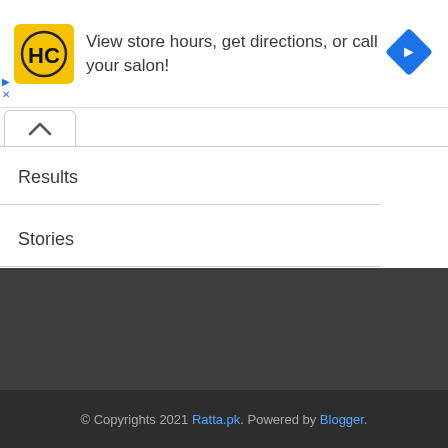[Figure (other): Advertisement banner with HC logo (yellow square with black HC letters), text 'View store hours, get directions, or call your salon!', and a blue diamond navigation arrow icon on the right. Small play and X controls on left edge.]
Results
Stories
© Copyrights 2021 Ratta.pk. Powered by Blogger.